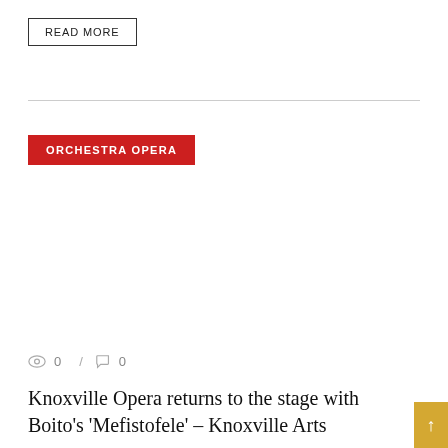READ MORE
ORCHESTRA OPERA
0  /  0
Knoxville Opera returns to the stage with Boito's 'Mefistofele' – Knoxville Arts